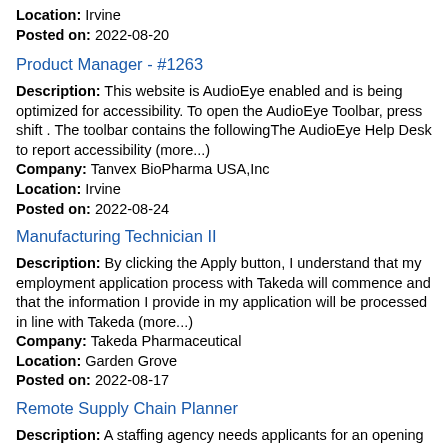Location: Irvine
Posted on: 2022-08-20
Product Manager - #1263
Description: This website is AudioEye enabled and is being optimized for accessibility. To open the AudioEye Toolbar, press shift . The toolbar contains the followingThe AudioEye Help Desk to report accessibility (more...)
Company: Tanvex BioPharma USA,Inc
Location: Irvine
Posted on: 2022-08-24
Manufacturing Technician II
Description: By clicking the Apply button, I understand that my employment application process with Takeda will commence and that the information I provide in my application will be processed in line with Takeda (more...)
Company: Takeda Pharmaceutical
Location: Garden Grove
Posted on: 2022-08-17
Remote Supply Chain Planner
Description: A staffing agency needs applicants for an opening for a Remote Supply
Company: VirtualVocations
Location: Fullerton
Posted on: 2022-08-19